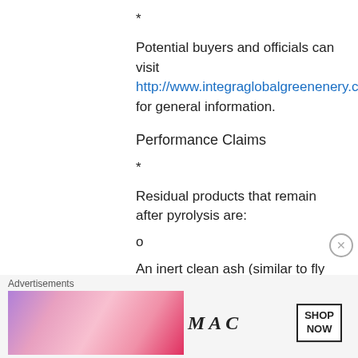*
Potential buyers and officials can visit http://www.integraglobalgreenenery.com for general information.
Performance Claims
*
Residual products that remain after pyrolysis are:
o
An inert clean ash (similar to fly ash used for
Advertisements